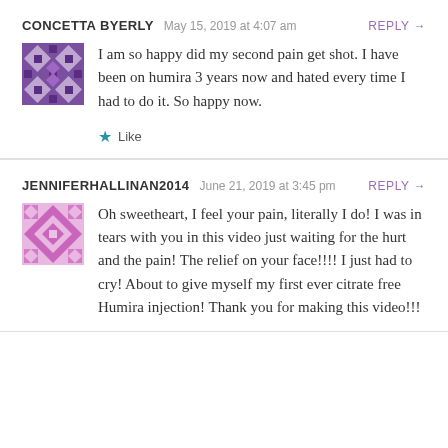CONCETTA BYERLY  May 15, 2019 at 4:07 am  REPLY →
I am so happy did my second pain get shot. I have been on humira 3 years now and hated every time I had to do it. So happy now.
Like
JENNIFERHALLINAN2014  June 21, 2019 at 3:45 pm  REPLY →
Oh sweetheart, I feel your pain, literally I do! I was in tears with you in this video just waiting for the hurt and the pain! The relief on your face!!!! I just had to cry! About to give myself my first ever citrate free Humira injection! Thank you for making this video!!!